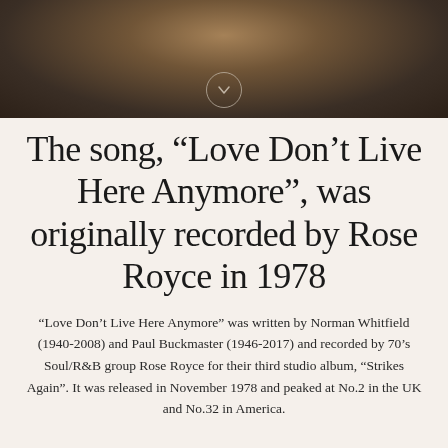[Figure (photo): Dark sepia-toned photo banner showing a blurred figure with blonde hair against a dark background, with a circular chevron/down-arrow icon overlaid at the bottom center]
The song, “Love Don’t Live Here Anymore”, was originally recorded by Rose Royce in 1978
“Love Don’t Live Here Anymore” was written by Norman Whitfield (1940-2008) and Paul Buckmaster (1946-2017) and recorded by 70’s Soul/R&B group Rose Royce for their third studio album, “Strikes Again”. It was released in November 1978 and peaked at No.2 in the UK and No.32 in America.